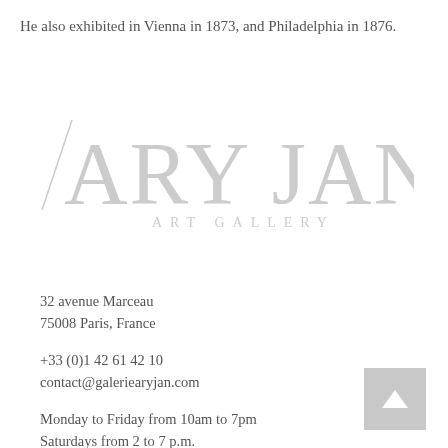He also exhibited in Vienna in 1873, and Philadelphia in 1876.
[Figure (logo): ARY JAN ART GALLERY logo in light gray, large stylized text]
32 avenue Marceau
75008 Paris, France
+33 (0)1 42 61 42 10
contact@galeriearyjan.com
Monday to Friday from 10am to 7pm
Saturdays from 2 to 7 p.m.